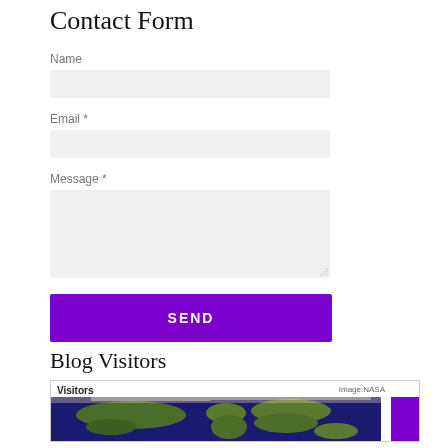Contact Form
Name
Email *
Message *
SEND
Blog Visitors
[Figure (map): World map showing blog visitors with 'Visitors' label top-left and 'Image:NASA' credit top-right, partial view cut off at bottom]